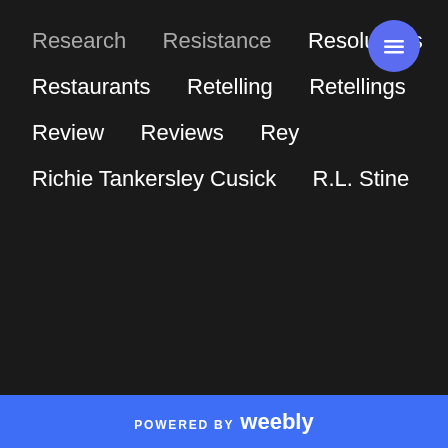Research
Resistance
Resolutions
Restaurants
Retelling
Retellings
Review
Reviews
Rey
Richie Tankersley Cusick
R.L. Stine
POWERED BY weebly